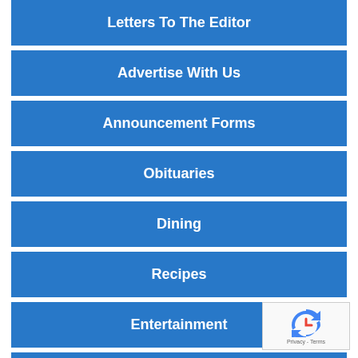Letters To The Editor
Advertise With Us
Announcement Forms
Obituaries
Dining
Recipes
Entertainment
Contact Us
[Figure (logo): reCAPTCHA widget with recycle-arrow icon and 'Privacy - Terms' text]